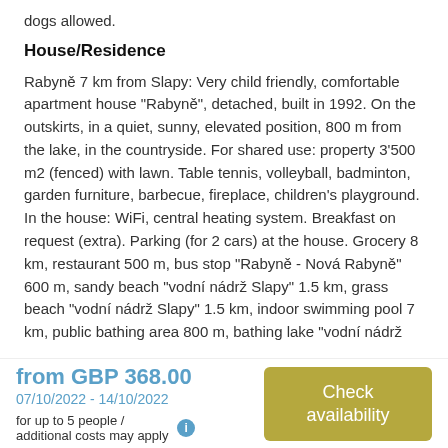dogs allowed.
House/Residence
Rabyně 7 km from Slapy: Very child friendly, comfortable apartment house "Rabyně", detached, built in 1992. On the outskirts, in a quiet, sunny, elevated position, 800 m from the lake, in the countryside. For shared use: property 3'500 m2 (fenced) with lawn. Table tennis, volleyball, badminton, garden furniture, barbecue, fireplace, children's playground. In the house: WiFi, central heating system. Breakfast on request (extra). Parking (for 2 cars) at the house. Grocery 8 km, restaurant 500 m, bus stop "Rabyně - Nová Rabyně" 600 m, sandy beach "vodní nádrž Slapy" 1.5 km, grass beach "vodní nádrž Slapy" 1.5 km, indoor swimming pool 7 km, public bathing area 800 m, bathing lake "vodní nádrž
from GBP 368.00
07/10/2022 - 14/10/2022
for up to 5 people / additional costs may apply